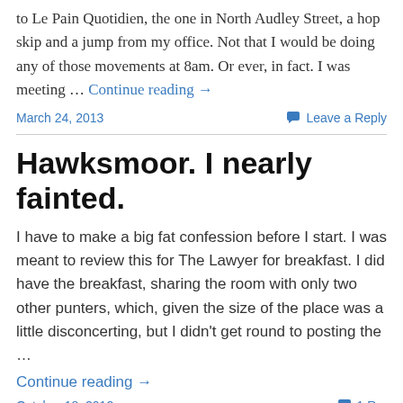to Le Pain Quotidien, the one in North Audley Street, a hop skip and a jump from my office. Not that I would be doing any of those movements at 8am. Or ever, in fact. I was meeting … Continue reading →
March 24, 2013
Leave a Reply
Hawksmoor. I nearly fainted.
I have to make a big fat confession before I start. I was meant to review this for The Lawyer for breakfast. I did have the breakfast, sharing the room with only two other punters, which, given the size of the place was a little disconcerting, but I didn't get round to posting the …
Continue reading →
October 18, 2012